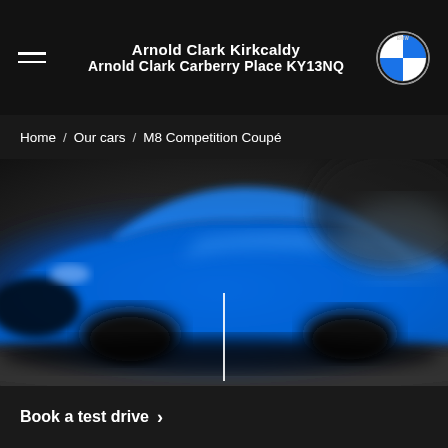Arnold Clark Kirkcaldy
Arnold Clark Carberry Place KY13NQ
Home / Our cars / M8 Competition Coupé
[Figure (photo): Blue BMW M8 Competition Coupé in a dark studio setting, blurred/out of focus, with a vertical white line indicator in the center foreground]
Book a test drive >